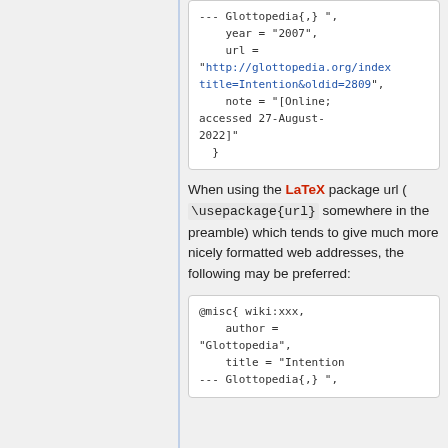--- Glottopedia{,} ",
    year = "2007",
    url =
"http://glottopedia.org/index...title=Intention&oldid=2809",
    note = "[Online; accessed 27-August-2022]"
  }
When using the LaTeX package url ( \usepackage{url} somewhere in the preamble) which tends to give much more nicely formatted web addresses, the following may be preferred:
@misc{ wiki:xxx,
    author =
"Glottopedia",
    title = "Intention
--- Glottopedia{,} ",